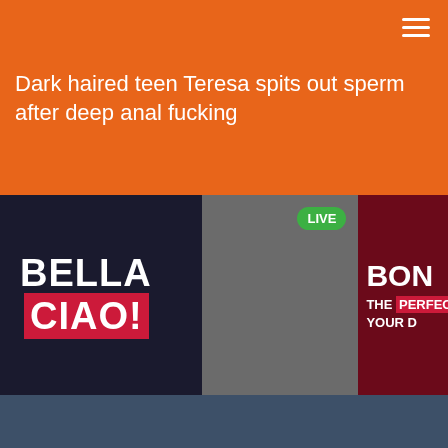Dark haired teen Teresa spits out sperm after deep anal fucking
[Figure (screenshot): Advertisement banner with 'BELLA CIAO!' text on dark background, a figure wearing a mask with LIVE badge, and partial text 'BON THE PERFEC YOUR D' on dark red background]